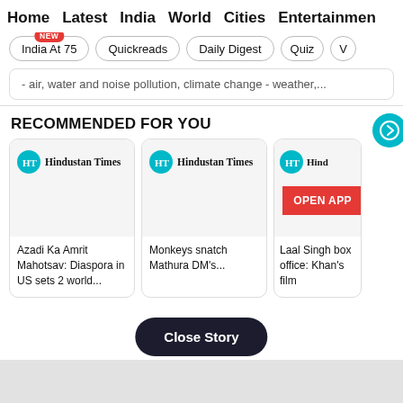Home  Latest  India  World  Cities  Entertainment
India At 75 (NEW)
Quickreads
Daily Digest
Quiz
V
- air, water and noise pollution, climate change - weather,...
RECOMMENDED FOR YOU
[Figure (screenshot): Hindustan Times logo card with article: Azadi Ka Amrit Mahotsav: Diaspora in US sets 2 world...]
[Figure (screenshot): Hindustan Times logo card with article: Monkeys snatch Mathura DM's...]
[Figure (screenshot): Hindustan Times logo card (partial) with article: Laal Singh box office: Khan's film... with OPEN APP button]
Close Story